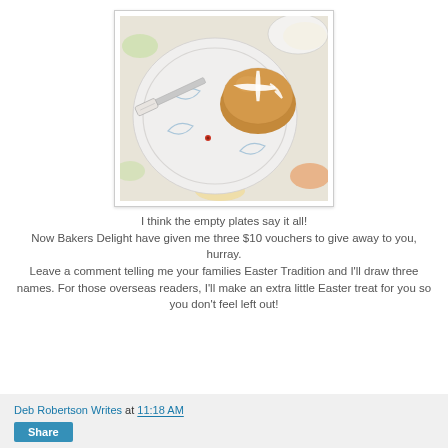[Figure (photo): A white decorative plate with blue painted designs, holding a hot cross bun with white icing cross. A knife rests on the plate. The plate sits on a floral tablecloth. A small red dot/decoration is visible near the center of the plate.]
I think the empty plates say it all!
Now Bakers Delight have given me three $10 vouchers to give away to you, hurray.
Leave a comment telling me your families Easter Tradition and I'll draw three names. For those overseas readers, I'll make an extra little Easter treat for you so you don't feel left out!
Deb Robertson Writes at 11:18 AM
Share